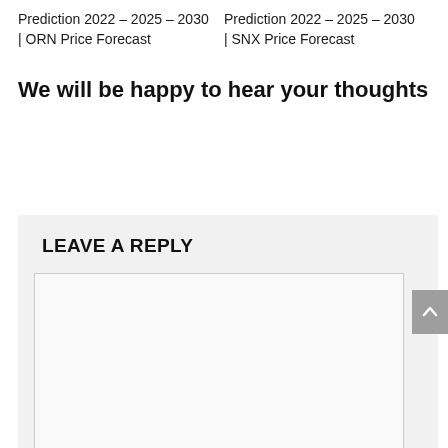Prediction 2022 – 2025 – 2030 | ORN Price Forecast
Prediction 2022 – 2025 – 2030 | SNX Price Forecast
We will be happy to hear your thoughts
LEAVE A REPLY